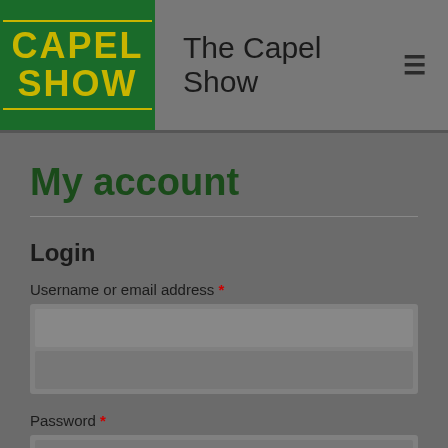[Figure (logo): Capel Show logo: dark green box with gold text 'CAPEL SHOW' with gold horizontal border lines]
The Capel Show
My account
Login
Username or email address *
Password *